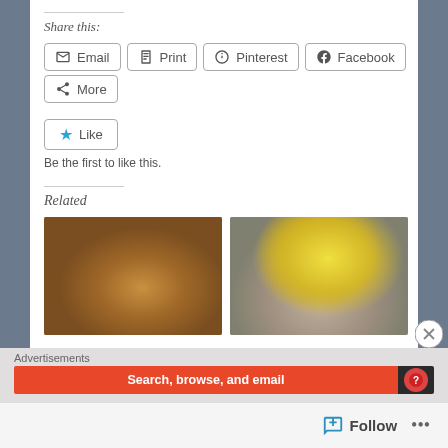Share this:
Email
Print
Pinterest
Facebook
More
Like
Be the first to like this.
Related
[Figure (photo): Close-up photo of a rice dish with beans and vegetables on a white plate]
[Figure (photo): Close-up photo of a fried egg on top of a creamy dish]
Advertisements
Search, browse, and email
Follow
...